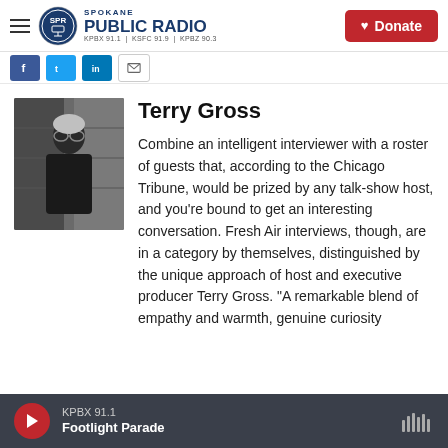Spokane Public Radio — KPBX 91.1 | KSFC 91.9 | KPBZ 90.3
[Figure (screenshot): Social sharing icons: Facebook, Twitter, LinkedIn, Email]
Terry Gross
[Figure (photo): Black and white photo of Terry Gross standing in what appears to be a library or archive, wearing a jacket, with glasses.]
Combine an intelligent interviewer with a roster of guests that, according to the Chicago Tribune, would be prized by any talk-show host, and you're bound to get an interesting conversation. Fresh Air interviews, though, are in a category by themselves, distinguished by the unique approach of host and executive producer Terry Gross. "A remarkable blend of empathy and warmth, genuine curiosity
KPBX 91.1 — Footlight Parade